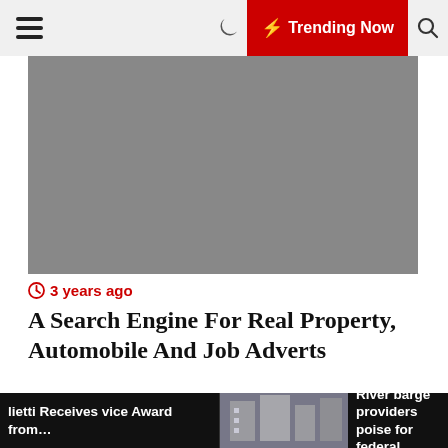☰  🌙  ⚡ Trending Now  🔍
[Figure (photo): Gray placeholder image – main article hero image]
3 years ago
A Search Engine For Real Property, Automobile And Job Adverts
[Figure (photo): News photo showing people at an event with a red background logo]
lietti Receives vice Award from...   Missouri River barge providers poise for federal funding